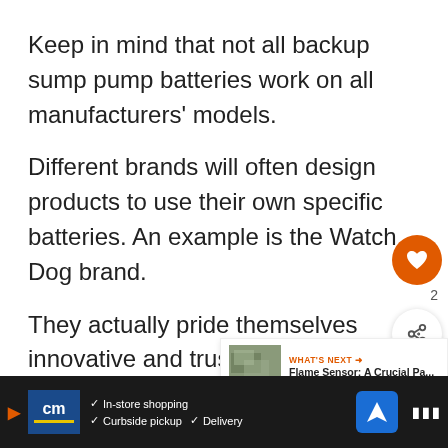Keep in mind that not all backup sump pump batteries work on all manufacturers' models.
Different brands will often design products to use their own specific batteries. An example is the Watch Dog brand.
They actually pride themselves innovative and trust-worthy battery.
[Figure (screenshot): Social interaction buttons: orange heart/like button with share button below, showing count '2']
[Figure (screenshot): What's Next panel showing thumbnail image and text 'WHAT'S NEXT → Flame Sensor: A Crucial Pa...']
[Figure (screenshot): Advertisement banner at bottom: CM logo with In-store shopping, Curbside pickup, Delivery options and navigation icons]